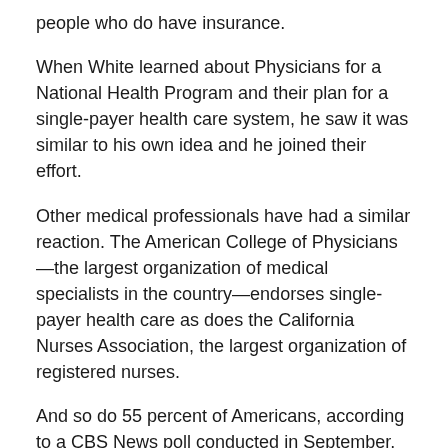people who do have insurance.
When White learned about Physicians for a National Health Program and their plan for a single-payer health care system, he saw it was similar to his own idea and he joined their effort.
Other medical professionals have had a similar reaction. The American College of Physicians—the largest organization of medical specialists in the country—endorses single-payer health care as does the California Nurses Association, the largest organization of registered nurses.
And so do 55 percent of Americans, according to a CBS News poll conducted in September. In another poll, 64 percent said they would be willing to pay higher taxes for a national health care insurance program.
In Congress, HR 676, the “Medicare for All” bill introduced by Representative John Conyers, Jr. of